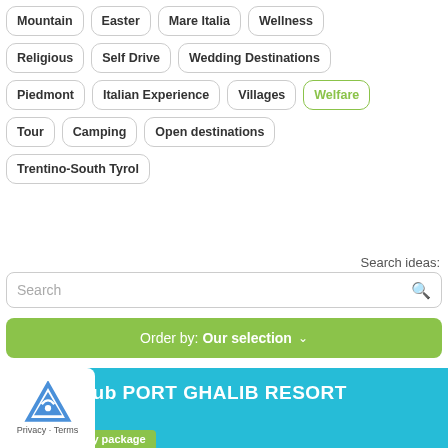Mountain
Easter
Mare Italia
Wellness
Religious
Self Drive
Wedding Destinations
Piedmont
Italian Experience
Villages
Welfare
Tour
Camping
Open destinations
Trentino-South Tyrol
Search ideas:
Search
Order by: Our selection ∨
ia Club PORT GHALIB RESORT
holiday package